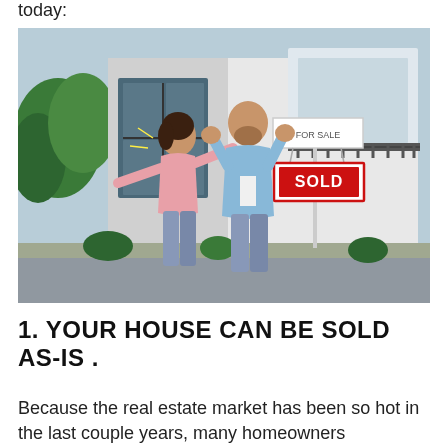today:
[Figure (photo): A happy couple celebrating in front of a modern white house with a SOLD real estate sign. The woman wears a pink shirt and jeans with arms spread wide, the man wears a light blue shirt and jeans with fists pumped.]
1. YOUR HOUSE CAN BE SOLD AS-IS .
Because the real estate market has been so hot in the last couple years, many homeowners